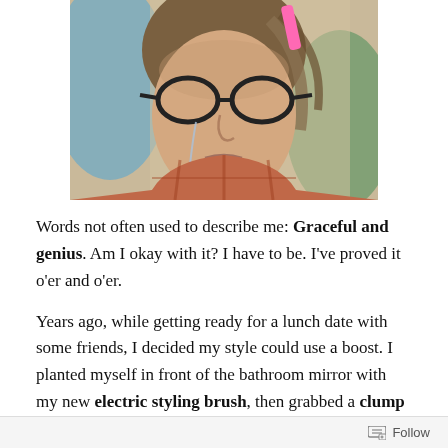[Figure (photo): A person with large black-rimmed glasses, messy brown hair, and a plaid shirt, appearing to cry or make a distressed expression. A pink hair roller or pin is visible in the hair. The background shows blue and green out-of-focus elements.]
Words not often used to describe me: Graceful and genius. Am I okay with it? I have to be. I’ve proved it o’er and o’er.
Years ago, while getting ready for a lunch date with some friends, I decided my style could use a boost. I planted myself in front of the bathroom mirror with my new electric styling brush, then grabbed a clump of hair.
Follow